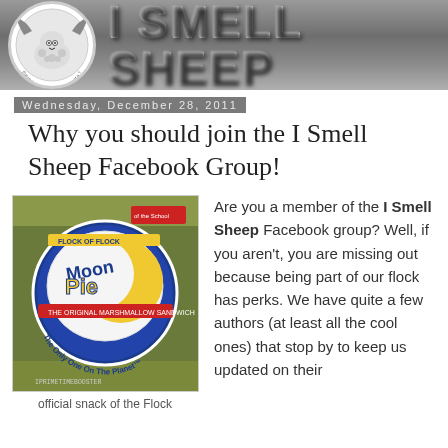I SMELL SHEEP
Wednesday, December 28, 2011
Why you should join the I Smell Sheep Facebook Group!
[Figure (photo): MoonPie package — The Only One On The Planet]
official snack of the Flock
Are you a member of the I Smell Sheep Facebook group? Well, if you aren't, you are missing out because being part of our flock has perks. We have quite a few authors (at least all the cool ones) that stop by to keep us updated on their